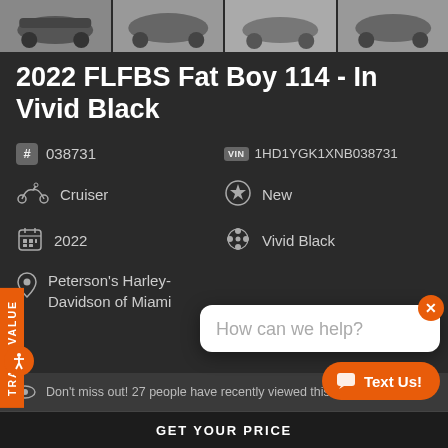[Figure (photo): Four thumbnail photos of a 2022 FLFBS Fat Boy 114 motorcycle in Vivid Black from different angles]
2022 FLFBS Fat Boy 114 - In Vivid Black
# 038731
VIN 1HD1YGK1XNB038731
Cruiser
New
2022
Vivid Black
Peterson's Harley-Davidson of Miami
Don't miss out! 27 people have recently viewed this.
How can we help?
Text Us!
TRADE VALUE
GET YOUR PRICE